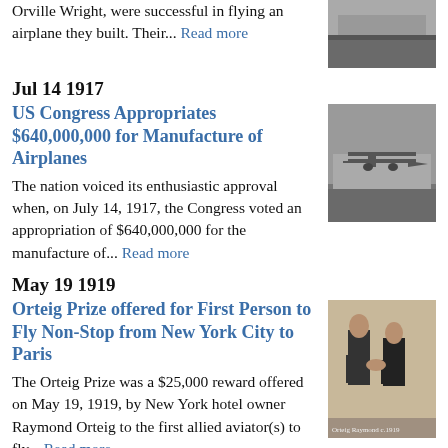Orville Wright, were successful in flying an airplane they built. Their... Read more
[Figure (photo): Black and white photo, possibly of early flight or landscape]
Jul 14 1917
US Congress Appropriates $640,000,000 for Manufacture of Airplanes
[Figure (photo): Black and white photo of an early airplane on the ground]
The nation voiced its enthusiastic approval when, on July 14, 1917, the Congress voted an appropriation of $640,000,000 for the manufacture of... Read more
May 19 1919
Orteig Prize offered for First Person to Fly Non-Stop from New York City to Paris
[Figure (photo): Sepia photo of two men in suits shaking hands]
The Orteig Prize was a $25,000 reward offered on May 19, 1919, by New York hotel owner Raymond Orteig to the first allied aviator(s) to fly... Read more
Jun 11 1927